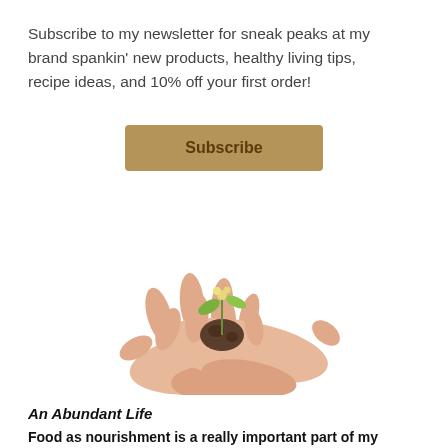Subscribe to my newsletter for sneak peaks at my brand spankin' new products, healthy living tips, recipe ideas, and 10% off your first order!
Subscribe
[Figure (photo): Two hands cupping a small plant seedling with soil, photographed against a white background.]
An Abundant Life
Food as nourishment is a really important part of my business's ethos because...it's a really important part of my personal ethos!